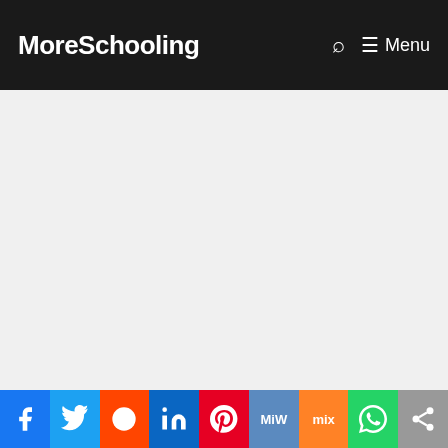MoreSchooling | Menu
JAMB and WAEC Subject Combination, Sciences
< JAMB And WAEC Subject Combination for Geography and Planning (Env)
> Does Michael Otedola College Of Primary Education, Moforiji (mocped) Conduct Post UTME?